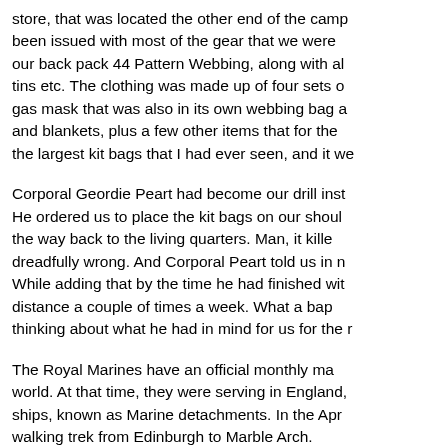store, that was located the other end of the camp been issued with most of the gear that we were our back pack 44 Pattern Webbing, along with al tins etc. The clothing was made up of four sets o gas mask that was also in its own webbing bag a and blankets, plus a few other items that for the the largest kit bags that I had ever seen, and it we
Corporal Geordie Peart had become our drill inst He ordered us to place the kit bags on our shoul the way back to the living quarters. Man, it kille dreadfully wrong. And Corporal Peart told us in While adding that by the time he had finished wit distance a couple of times a week. What a bap thinking about what he had in mind for us for the r
The Royal Marines have an official monthly ma world. At that time, they were serving in England, ships, known as Marine detachments. In the Apr walking trek from Edinburgh to Marble Arch.